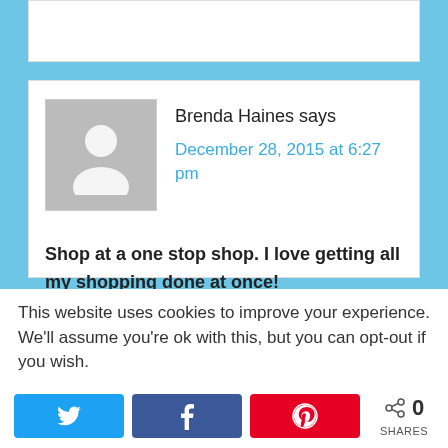Brenda Haines says
December 28, 2015 at 6:27 pm
Shop at a one stop shop. I love getting all my shopping done at once!
This website uses cookies to improve your experience. We'll assume you're ok with this, but you can opt-out if you wish.
0 SHARES